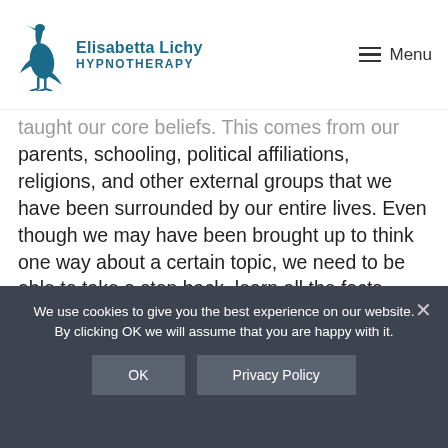Elisabetta Lichy HYPNOTHERAPY — Menu
taught our core beliefs. This comes from our parents, schooling, political affiliations, religions, and other external groups that we have been surrounded by our entire lives. Even though we may have been brought up to think one way about a certain topic, we need to be able to take a step back, learn all the facts about the situation, and not jump to a conclusion just based off what we may have learned for the first 10–15 years of our lives.
We use cookies to give you the best experience on our website. By clicking OK we will assume that you are happy with it.
OK   Privacy Policy